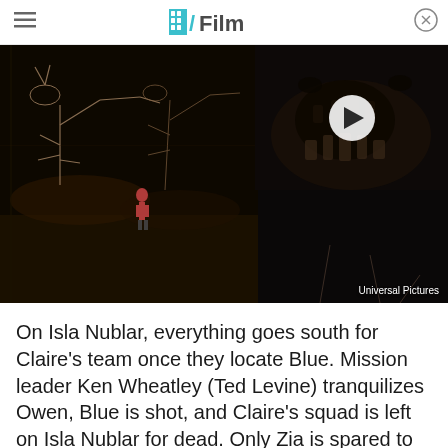/Film
[Figure (photo): Left: Museum interior with dinosaur skeletons on display, dimly lit with a person standing in the center. Right: Video thumbnail showing a close-up of a dinosaur's open mouth/snout with a play button overlay. Credit: Universal Pictures.]
Universal Pictures
On Isla Nublar, everything goes south for Claire's team once they locate Blue. Mission leader Ken Wheatley (Ted Levine) tranquilizes Owen, Blue is shot, and Claire's squad is left on Isla Nublar for dead. Only Zia is spared to keep Blue alive — Blue's DNA precious to further genetic operations — as a